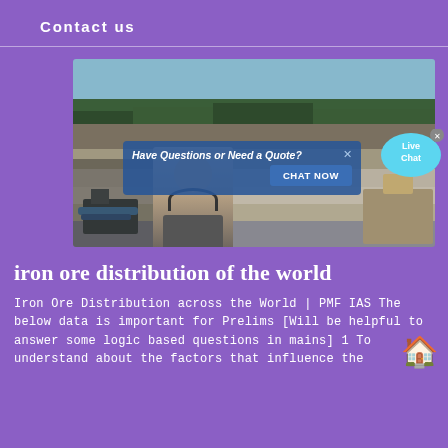Contact us
[Figure (photo): Mining quarry scene with a chat popup overlay showing 'Have Questions or Need a Quote?' with a CHAT NOW button, a person wearing a headset, and a Live Chat bubble in the top right.]
iron ore distribution of the world
Iron Ore Distribution across the World | PMF IAS The below data is important for Prelims [Will be helpful to answer some logic based questions in mains] 1 To understand about the factors that influence the